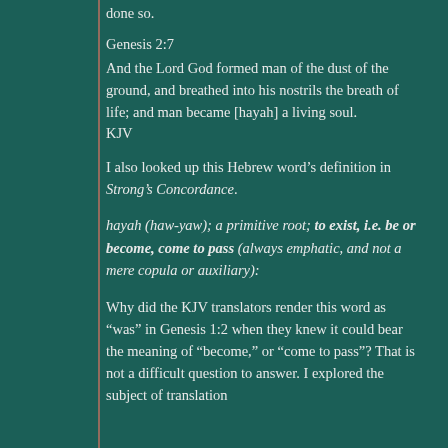done so.
Genesis 2:7
And the Lord God formed man of the dust of the ground, and breathed into his nostrils the breath of life; and man became [hayah] a living soul.
KJV
I also looked up this Hebrew word’s definition in Strong’s Concordance.
hayah (haw-yaw); a primitive root; to exist, i.e. be or become, come to pass (always emphatic, and not a mere copula or auxiliary):
Why did the KJV translators render this word as “was” in Genesis 1:2 when they knew it could bear the meaning of “become,” or “come to pass”? That is not a difficult question to answer. I explored the subject of translation